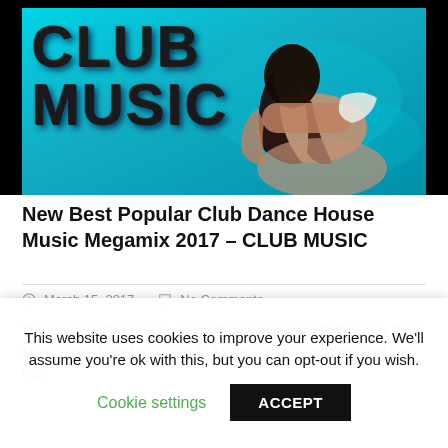[Figure (photo): Banner image for Club Music website showing a woman swimming in a pool with bright cyan/teal water, with large bold text overlaid reading 'CLUB MUSIC' on the left side. Black bar at top.]
New Best Popular Club Dance House Music Megamix 2017 – CLUB MUSIC
March 15, 2017   No Comments
The Best Electro House, Party Dance Mixes & Mashups by Club Music! Best New Music 2017!! Make sure to subscribe and like this
This website uses cookies to improve your experience. We'll assume you're ok with this, but you can opt-out if you wish.
Cookie settings   ACCEPT